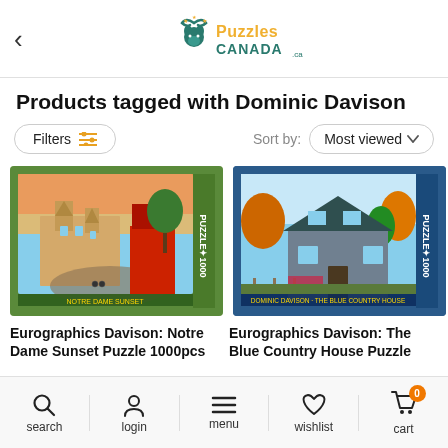Puzzles Canada
Products tagged with Dominic Davison
Filters | Sort by: Most viewed
[Figure (photo): Eurographics puzzle box: Notre Dame Sunset — 1000 piece puzzle showing Notre Dame cathedral at sunset with Parisian street scene]
[Figure (photo): Eurographics puzzle box: The Blue Country House — 1000 piece puzzle showing a blue Victorian country house in autumn setting by Dominic Davison]
Eurographics Davison: Notre Dame Sunset Puzzle 1000pcs
Eurographics Davison: The Blue Country House Puzzle
search  login  menu  wishlist  cart